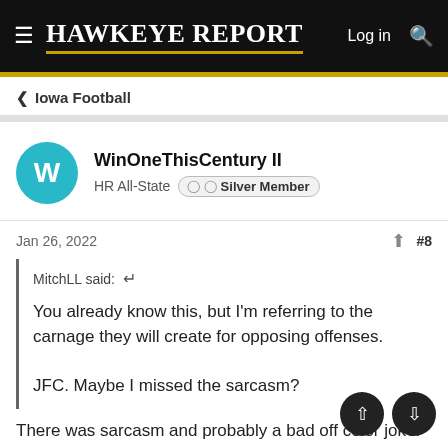Hawkeye Report — Log in
< Iowa Football
WinOneThisCentury II
HR All-State  Silver Member
Jan 26, 2022  #8
MitchLL said: ↩

You already know this, but I'm referring to the carnage they will create for opposing offenses.

JFC. Maybe I missed the sarcasm?
There was sarcasm and probably a bad off color joke. They